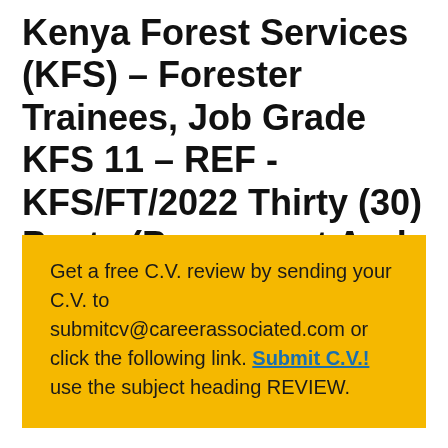Kenya Forest Services (KFS) – Forester Trainees, Job Grade KFS 11 – REF - KFS/FT/2022 Thirty (30) Posts (Permanent And Pensionable).
Get a free C.V. review by sending your C.V. to submitcv@careerassociated.com or click the following link. Submit C.V.! use the subject heading REVIEW.